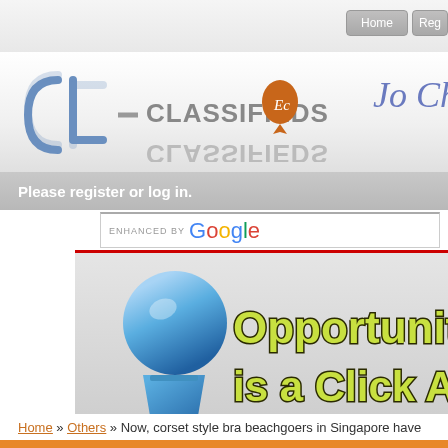Home | Reg...
[Figure (logo): Classifieds Ec logo with stylized CL letters and orange map pin icon, plus partial tagline 'Jo Ch...' in cursive]
Please register or log in.
[Figure (screenshot): ENHANCED BY Google search bar]
[Figure (illustration): Banner image: blue 3D trophy/cup figure on left with text 'Opportunity is a Click Awa...' in green outlined letters on grey gradient background]
Home » Others » Now, corset style bra beachgoers in Singapore have